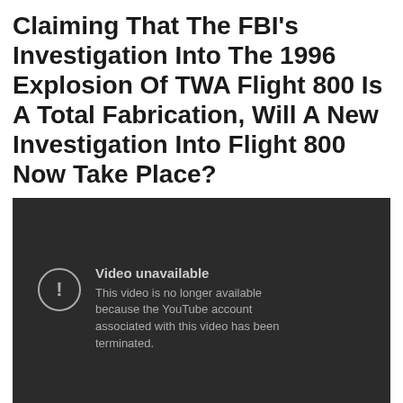Claiming That The FBI's Investigation Into The 1996 Explosion Of TWA Flight 800 Is A Total Fabrication, Will A New Investigation Into Flight 800 Now Take Place?
[Figure (screenshot): YouTube video player showing 'Video unavailable' error message. Dark background with circle exclamation icon and text: 'This video is no longer available because the YouTube account associated with this video has been terminated.']